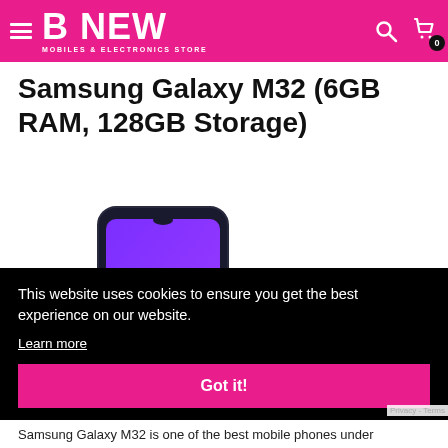B NEW MOBILES & ELECTRONICS STORE
Samsung Galaxy M32 (6GB RAM, 128GB Storage)
[Figure (photo): Samsung Galaxy M32 smartphone with purple/gradient display showing a large yellow M logo on screen, in a dark-bordered phone frame]
This website uses cookies to ensure you get the best experience on our website. Learn more Got it!
Samsung Galaxy M32 is one of the best mobile phones under